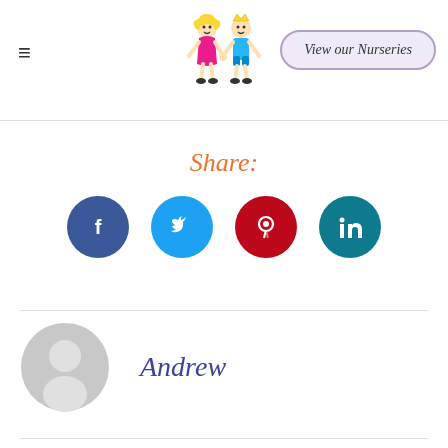[Figure (logo): Cartoon children nursery logo — two cartoon kids holding hands, a girl in pink and a boy in blue with a crown]
≡
View our Nurseries
Share:
[Figure (infographic): Four social media share buttons: Facebook (dark blue), Twitter (light blue), Pinterest (red), LinkedIn (teal)]
[Figure (photo): Grey circular avatar placeholder icon showing a person silhouette]
Andrew